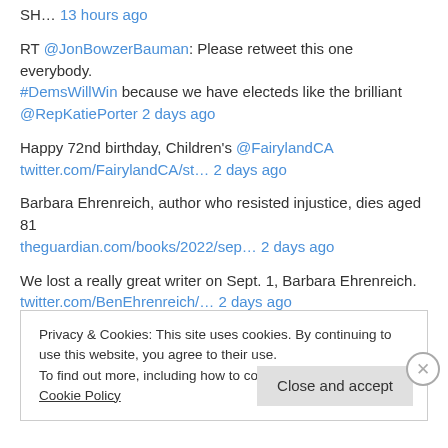SH… 13 hours ago
RT @JonBowzerBauman: Please retweet this one everybody. #DemsWillWin because we have electeds like the brilliant @RepKatiePorter 2 days ago
Happy 72nd birthday, Children's @FairylandCA twitter.com/FairylandCA/st… 2 days ago
Barbara Ehrenreich, author who resisted injustice, dies aged 81 theguardian.com/books/2022/sep… 2 days ago
We lost a really great writer on Sept. 1, Barbara Ehrenreich. twitter.com/BenEhrenreich/… 2 days ago
Privacy & Cookies: This site uses cookies. By continuing to use this website, you agree to their use. To find out more, including how to control cookies, see here: Cookie Policy
Close and accept